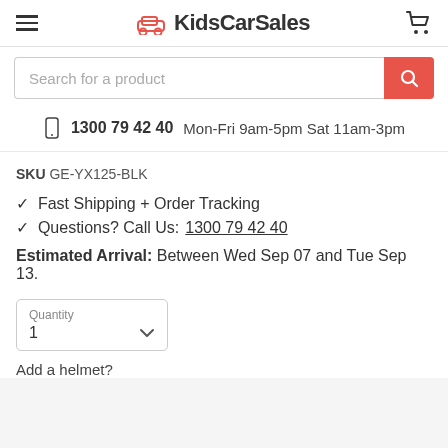KidsCarSales
Search for a product
1300 79 42 40  Mon-Fri 9am-5pm Sat 11am-3pm
SKU GE-YX125-BLK
✓ Fast Shipping + Order Tracking
✓ Questions? Call Us: 1300 79 42 40
Estimated Arrival: Between Wed Sep 07 and Tue Sep 13.
Quantity
1
Add a helmet?